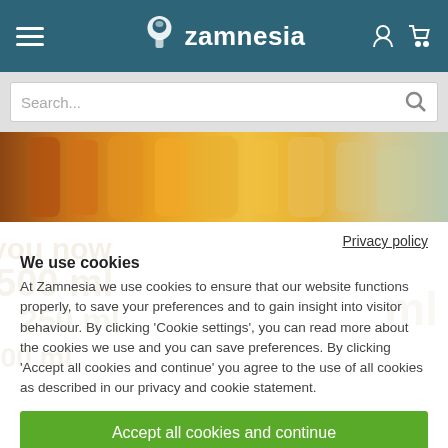Zamnesia
[Figure (screenshot): Search bar with placeholder text 'Search...' and magnifying glass icon]
[Figure (photo): Product image strip showing honey/amber colored liquid bottles]
Privacy policy
We use cookies
At Zamnesia we use cookies to ensure that our website functions properly, to save your preferences and to gain insight into visitor behaviour. By clicking 'Cookie settings', you can read more about the cookies we use and you can save preferences. By clicking 'Accept all cookies and continue' you agree to the use of all cookies as described in our privacy and cookie statement.
Accept all cookies and continue
Cookie settings